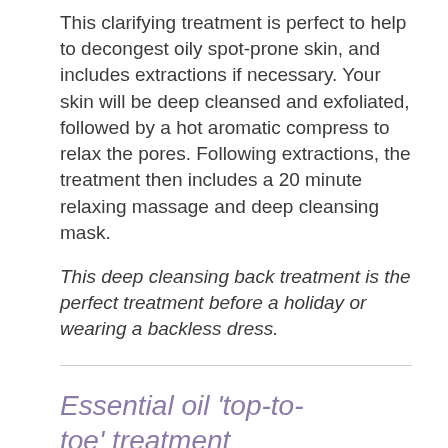This clarifying treatment is perfect to help to decongest oily spot-prone skin, and includes extractions if necessary. Your skin will be deep cleansed and exfoliated, followed by a hot aromatic compress to relax the pores. Following extractions, the treatment then includes a 20 minute relaxing massage and deep cleansing mask.
This deep cleansing back treatment is the perfect treatment before a holiday or wearing a backless dress.
Essential oil ‘top-to-toe’ treatment